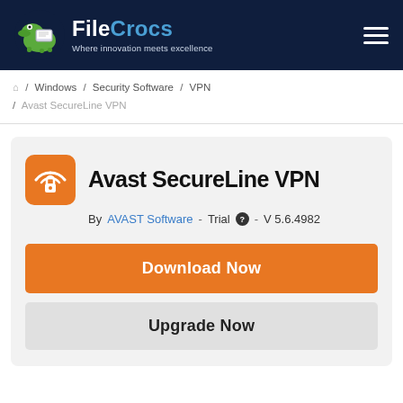FileCrocs — Where innovation meets excellence
/ Windows / Security Software / VPN / Avast SecureLine VPN
Avast SecureLine VPN
By AVAST Software - Trial - V 5.6.4982
Download Now
Upgrade Now